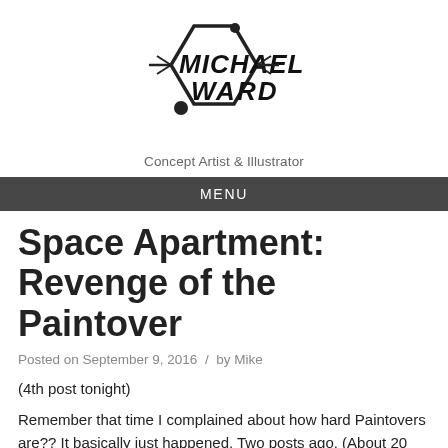[Figure (logo): Michael Ward logo with hexagon shape and stylized text reading MICHAEL WARD]
Concept Artist & Illustrator
MENU
Space Apartment: Revenge of the Paintover
Posted on September 9, 2016 / by Mike
(4th post tonight)
Remember that time I complained about how hard Paintovers are?? It basically just happened. Two posts ago. (About 20 minutes ago,